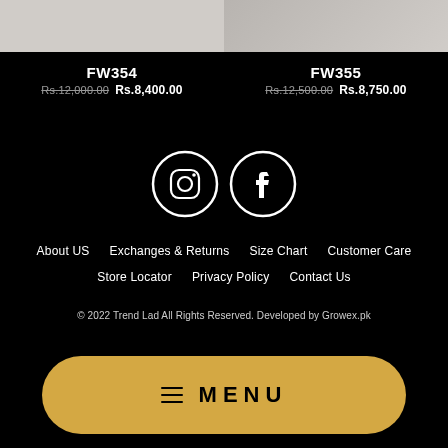[Figure (photo): Product image for FW354, cropped at top]
FW354
Rs.12,000.00  Rs.8,400.00
[Figure (photo): Product image for FW355, cropped at top-right]
FW355
Rs.12,500.00  Rs.8,750.00
[Figure (infographic): Instagram and Facebook social media icons in white circles on black background]
About US   Exchanges & Returns   Size Chart   Customer Care   Store Locator   Privacy Policy   Contact Us
© 2022 Trend Lad All Rights Reserved. Developed by Growex.pk
[Figure (other): Golden MENU button with hamburger icon at bottom of page]